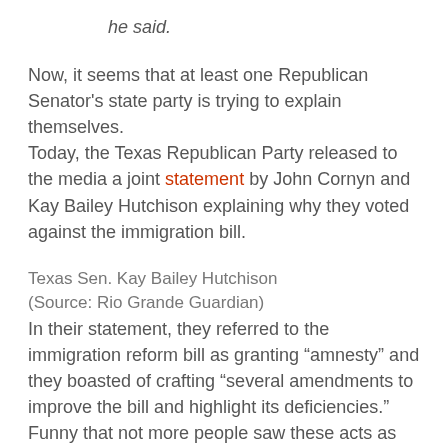he said.
Now, it seems that at least one Republican Senator's state party is trying to explain themselves. Today, the Texas Republican Party released to the media a joint statement by John Cornyn and Kay Bailey Hutchison explaining why they voted against the immigration bill.
Texas Sen. Kay Bailey Hutchison
(Source: Rio Grande Guardian)
In their statement, they referred to the immigration reform bill as granting “amnesty” and they boasted of crafting “several amendments to improve the bill and highlight its deficiencies.” Funny that not more people saw these acts as being particularly generous or wise.